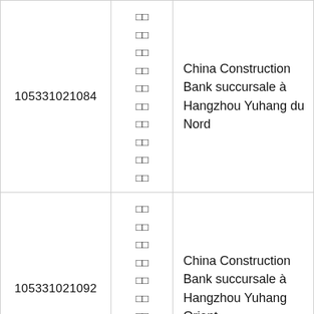| 105331021084 | □□
□□
□□
□□
□□
□□
□□
□□
□□
□□ | China Construction Bank succursale à Hangzhou Yuhang du Nord |
| 105331021092 | □□
□□
□□
□□
□□
□□
□□
□□
□□
□□ | China Construction Bank succursale à Hangzhou Yuhang Orient |